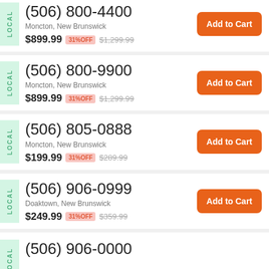(506) 800-4400 — Moncton, New Brunswick — $899.99 31%OFF $1,299.99
(506) 800-9900 — Moncton, New Brunswick — $899.99 31%OFF $1,299.99
(506) 805-0888 — Moncton, New Brunswick — $199.99 31%OFF $289.99
(506) 906-0999 — Doaktown, New Brunswick — $249.99 31%OFF $359.99